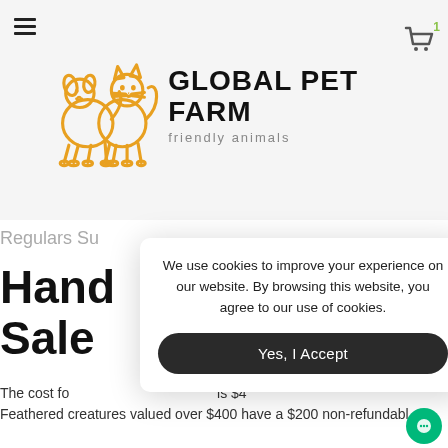[Figure (logo): Global Pet Farm logo with orange outlined dog and cat animals, brand name GLOBAL PET FARM in bold black text, tagline 'friendly animals' below]
Regulars Su
Hand r Sale
The cost fo is $4
Feathered creatures valued over $400 have a $200 non-refundabl
We use cookies to improve your experience on our website. By browsing this website, you agree to our use of cookies.
Yes, I Accept